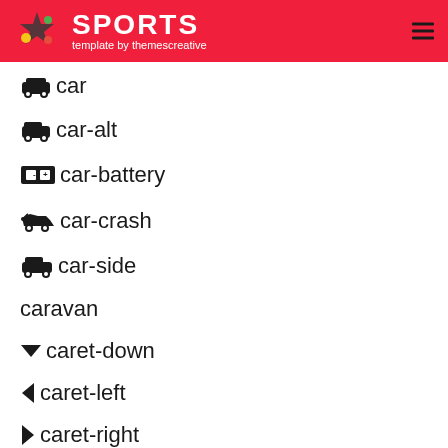SPORTS template by themescreative
car
car-alt
car-battery
car-crash
car-side
caravan
caret-down
caret-left
caret-right